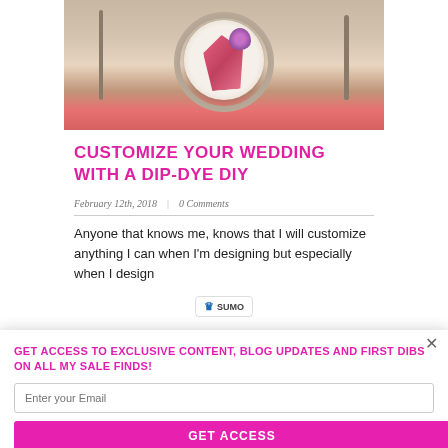[Figure (photo): Wedding table setting with a plate, pink folded napkin, purple flower, and cutlery on a decorative placemat]
CUSTOMIZE YOUR WEDDING WITH A DIP-DYE DIY
February 12th, 2018 | 0 Comments
Anyone that knows me, knows that I will customize anything I can when I'm designing but especially when I design
GET ACCESS TO EXCLUSIVE CONTENT, BLOG UPDATES AND FIRST DIBS ON ALL MY SALE FINDS!
Enter your Email
GET ACCESS